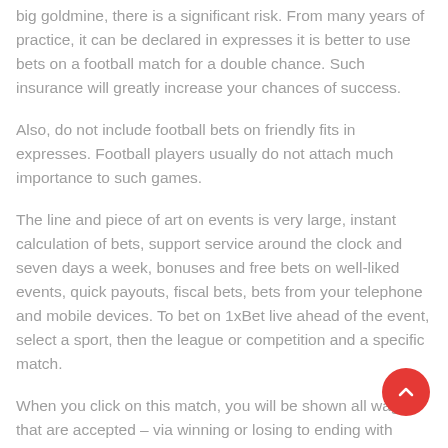big goldmine, there is a significant risk. From many years of practice, it can be declared in expresses it is better to use bets on a football match for a double chance. Such insurance will greatly increase your chances of success.
Also, do not include football bets on friendly fits in expresses. Football players usually do not attach much importance to such games.
The line and piece of art on events is very large, instant calculation of bets, support service around the clock and seven days a week, bonuses and free bets on well-liked events, quick payouts, fiscal bets, bets from your telephone and mobile devices. To bet on 1xBet live ahead of the event, select a sport, then the league or competition and a specific match.
When you click on this match, you will be shown all wagers that are accepted – via winning or losing to ending with